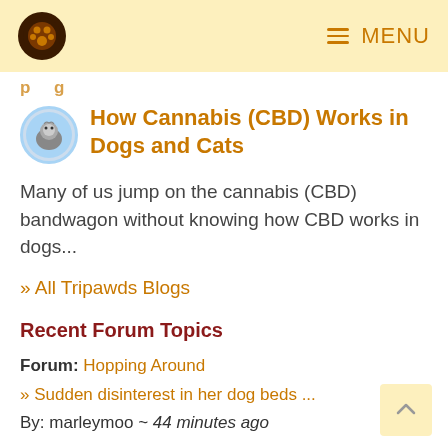MENU
How Cannabis (CBD) Works in Dogs and Cats
Many of us jump on the cannabis (CBD) bandwagon without knowing how CBD works in dogs...
» All Tripawds Blogs
Recent Forum Topics
Forum: Hopping Around
» Sudden disinterest in her dog beds ...
By: marleymoo ~ 44 minutes ago